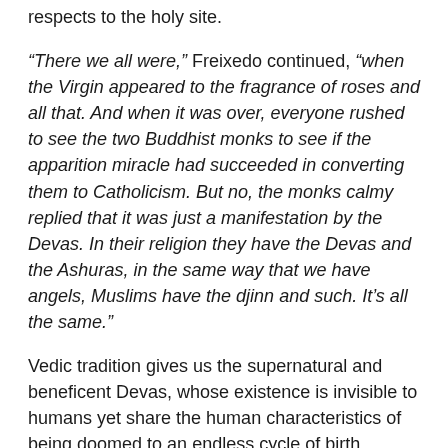respects to the holy site.
“There we all were,” Freixedo continued, “when the Virgin appeared to the fragrance of roses and all that. And when it was over, everyone rushed to see the two Buddhist monks to see if the apparition miracle had succeeded in converting them to Catholicism. But no, the monks calmy replied that it was just a manifestation by the Devas. In their religion they have the Devas and the Ashuras, in the same way that we have angels, Muslims have the djinn and such. It’s all the same.”
Vedic tradition gives us the supernatural and beneficent Devas, whose existence is invisible to humans yet share the human characteristics of being doomed to an endless cycle of birth, maturation, death and reincarnation. The word to describe these entities comes from the Sanskrit term that means "beings of light" or "glowing ones". Living in a dimension adjacent to our own, the purpose of these etheric presences is to keep the physical universe which we inhabit running smoothly--roughly akin to a maintenance department, out of sight but ever present. The Devas are